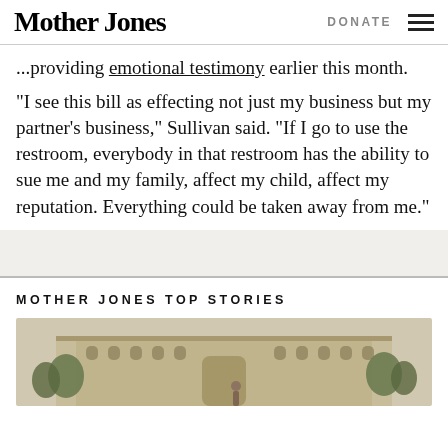Mother Jones | DONATE
…providing testimony earlier this month.
“I see this bill as effecting not just my business but my partner’s business,” Sullivan said. “If I go to use the restroom, everybody in that restroom has the ability to sue me and my family, affect my child, affect my reputation. Everything could be taken away from me.”
MOTHER JONES TOP STORIES
[Figure (photo): Photo of a large ornate building exterior with trees and a person visible in the foreground]